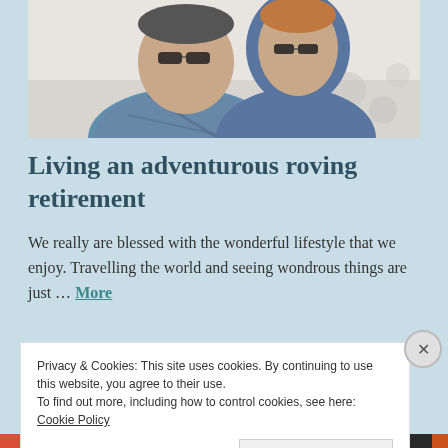[Figure (photo): Selfie photo of a middle-aged couple smiling outdoors, man on left wearing plaid shirt and sunglasses, woman on right wearing a blue hoodie and sunglasses, white decorative building in background]
Living an adventurous roving retirement
We really are blessed with the wonderful lifestyle that we enjoy. Travelling the world and seeing wondrous things are just … More
Privacy & Cookies: This site uses cookies. By continuing to use this website, you agree to their use.
To find out more, including how to control cookies, see here: Cookie Policy
Close and accept